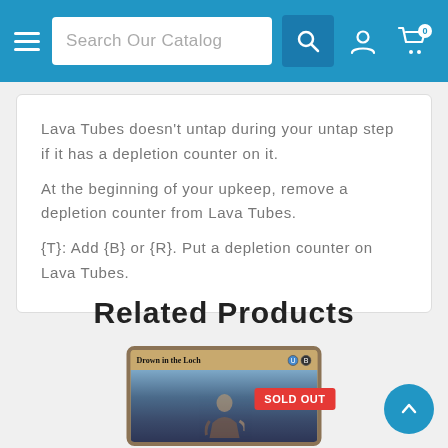Search Our Catalog
Lava Tubes doesn't untap during your untap step if it has a depletion counter on it.
At the beginning of your upkeep, remove a depletion counter from Lava Tubes.
{T}: Add {B} or {R}. Put a depletion counter on Lava Tubes.
Related Products
[Figure (illustration): Magic: The Gathering card 'Drown in the Loch' with a SOLD OUT badge overlay]